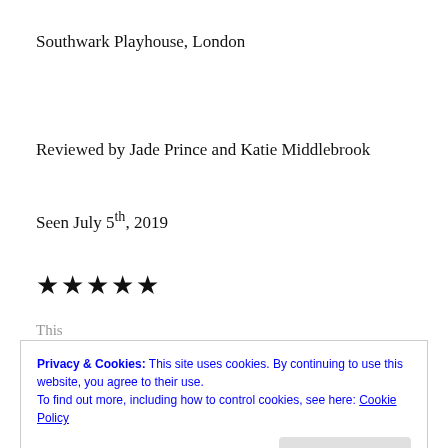Southwark Playhouse, London
Reviewed by Jade Prince and Katie Middlebrook
Seen July 5th, 2019
★★★★★
This...
Privacy & Cookies: This site uses cookies. By continuing to use this website, you agree to their use.
To find out more, including how to control cookies, see here: Cookie Policy
Close and accept
There's just gonna be double the love!